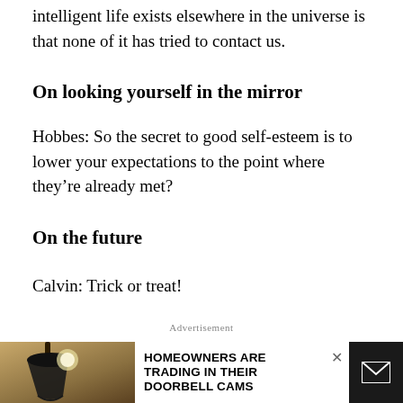intelligent life exists elsewhere in the universe is that none of it has tried to contact us.
On looking yourself in the mirror
Hobbes: So the secret to good self-esteem is to lower your expectations to the point where they’re already met?
On the future
Calvin: Trick or treat!
Advertisement
[Figure (other): Advertisement banner showing homeowners trading in doorbell cams, with a photo of a wall lamp, text 'HOMEOWNERS ARE TRADING IN THEIR DOORBELL CAMS', a close button, and a dark panel with an envelope icon.]